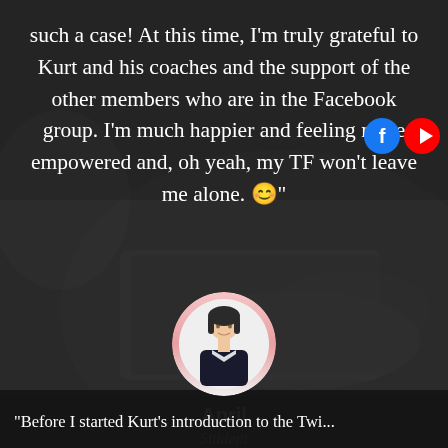such a case! At this time, I'm truly grateful to Kurt and his coaches and the support of the other members who are in the Facebook group. I'm much happier and feeling more empowered and, oh yeah, my TF won't leave me alone. 😊"
[Figure (photo): Circular avatar/profile photo of a woman with dark hair wearing a black blazer, with a pink-to-white gradient ring border. Background is a dark photo of a person using a laptop.]
April
Student
"Before I started Kurt's introduction to the Twi...